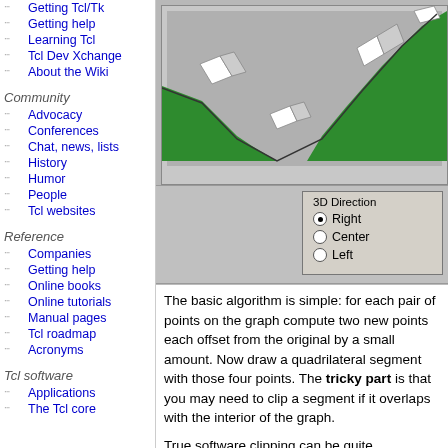Getting Tcl/Tk
Getting help
Learning Tcl
Tcl Dev Xchange
About the Wiki
Community
Advocacy
Conferences
Chat, news, lists
History
Humor
People
Tcl websites
Reference
Companies
Getting help
Online books
Online tutorials
Manual pages
Tcl roadmap
Acronyms
Tcl software
Applications
The Tcl core
[Figure (screenshot): A 3D line graph rendered in Tcl/Tk showing a green-filled area chart with white/gray 3D bar edges along a valley and rising line. Below the chart is a control panel with a '3D Direction' radio group offering Right (selected), Center, and Left options.]
The basic algorithm is simple: for each pair of points on the graph compute two new points each offset from the original by a small amount. Now draw a quadrilateral segment with those four points. The tricky part is that you may need to clip a segment if it overlaps with the interior of the graph.
True software clipping can be quite complicated so I took a short cut which works for the vast majority of my graphs. It simply